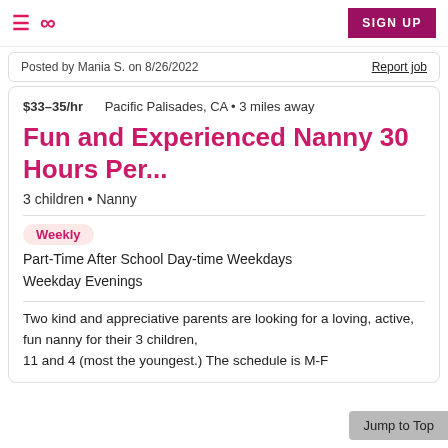≡  ∞∞  SIGN UP
Posted by Mania S. on 8/26/2022    Report job
$33–35/hr    Pacific Palisades, CA • 3 miles away
Fun and Experienced Nanny 30 Hours Per...
3 children • Nanny
Weekly
Part-Time After School Day-time Weekdays Weekday Evenings
Two kind and appreciative parents are looking for a loving, active, fun nanny for their 3 children, 11 and 4 (most the youngest.) The schedule is M-F